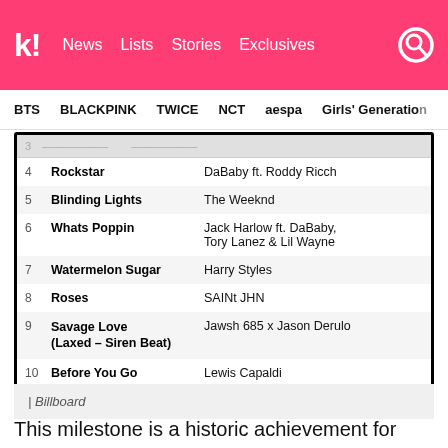k! News Lists Stories Exclusives
BTS BLACKPINK TWICE NCT aespa Girls' Generation
| # | Song | Artist |
| --- | --- | --- |
| 4 | Rockstar | DaBaby ft. Roddy Ricch |
| 5 | Blinding Lights | The Weeknd |
| 6 | Whats Poppin | Jack Harlow ft. DaBaby, Tory Lanez & Lil Wayne |
| 7 | Watermelon Sugar | Harry Styles |
| 8 | Roses | SAINt JHN |
| 9 | Savage Love (Laxed - Siren Beat) | Jawsh 685 x Jason Derulo |
| 10 | Before You Go | Lewis Capaldi |
| Billboard
This milestone is a historic achievement for BTS, but also for K-Pop as a whole. When